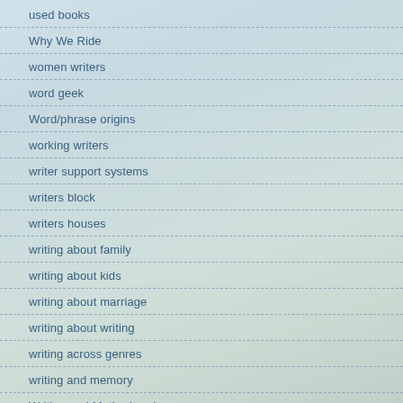used books
Why We Ride
women writers
word geek
Word/phrase origins
working writers
writer support systems
writers block
writers houses
writing about family
writing about kids
writing about marriage
writing about writing
writing across genres
writing and memory
Writing and Motherhood
writing and reading
writing classes
writing coaching